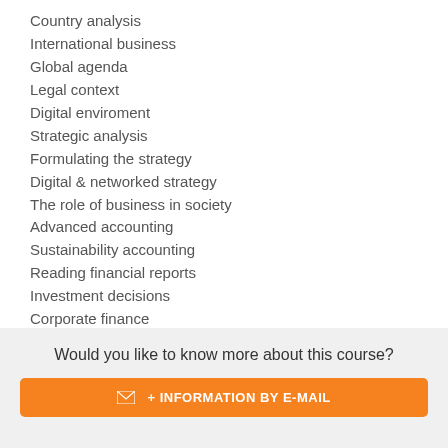Country analysis
International business
Global agenda
Legal context
Digital enviroment
Strategic analysis
Formulating the strategy
Digital & networked strategy
The role of business in society
Advanced accounting
Sustainability accounting
Reading financial reports
Investment decisions
Corporate finance
Financial inst. & Capital markets
Critical thinking
Creativity workshop
Would you like to know more about this course?
+ INFORMATION BY E-MAIL